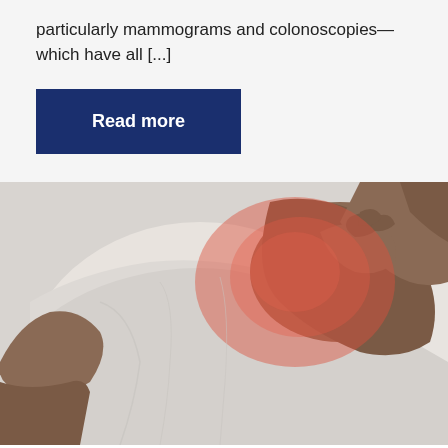particularly mammograms and colonoscopies—which have all [...]
Read more
[Figure (photo): A person in a white t-shirt reaching back to touch their shoulder/upper back area, which is highlighted in red to indicate pain or inflammation.]